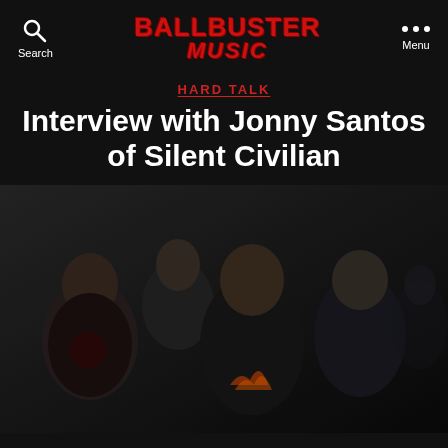Search | BALLBUSTER MUSIC | Menu
HARD TALK
Interview with Jonny Santos of Silent Civilian
[Figure (photo): Band photo of Silent Civilian — four young men in dark clothing posed against a dark background. Front center member has dark hair with streaks, wearing a hoodie with flame graphics. Left member in red graphic tee, right member in dark hoodie. Back member partially visible.]